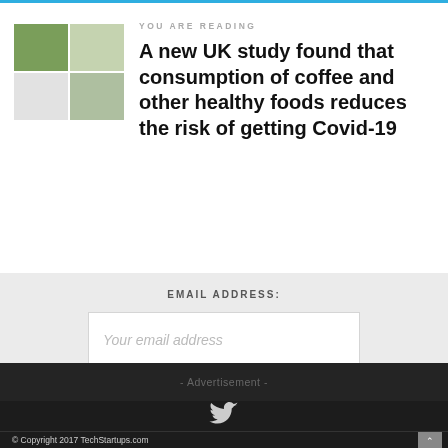YOU ARE READING
A new UK study found that consumption of coffee and other healthy foods reduces the risk of getting Covid-19
EMAIL ADDRESS:
Your email address
SUBSCRIBE
- Advertisement -
[Figure (illustration): Twitter bird icon]
© Copyright 2017 TechStartups.com